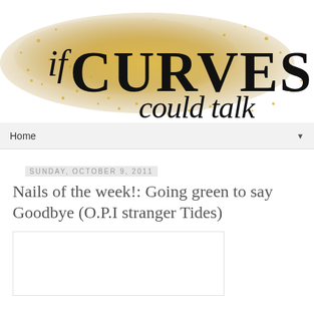[Figure (logo): Blog logo: 'if CURVES could talk' with gold glitter texture background. 'if' and 'could talk' in italic script, 'CURVES' in large bold serif capitals.]
Home ▼
Sunday, October 9, 2011
Nails of the week!: Going green to say Goodbye (O.P.I stranger Tides)
[Figure (photo): White/blank image placeholder area]